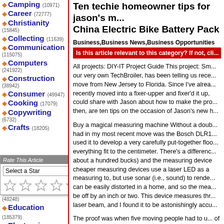Camping (10971)
Career (72777)
Christianity (15845)
Collecting (11639)
Communication (115075)
Computers (241922)
Construction (38942)
Consumer (49947)
Cooking (17079)
Copywriting (6732)
Crafts (18205)
[Figure (other): Rate This Article popup with star rating selector]
E-Commerce (48248)
Education (185379)
Electronics (83517)
Email (6439)
Entertainment (159838)
Environment (28924)
Ten techie homeowner tips for jason's m... China Electric Bike Battery Pack
Business, Business News, Business Opportunities
Is this article relevant to this category? If not, cli...
All projects: DIY-IT Project Guide This project: Sm... our very own TechBroiler, has been telling us rece... move from New Jersey to Florida. Since I've alrea... recently moved into a fixer-upper and fixer'd it up, could share with Jason about how to make the pro... then, are ten tips on the occasion of Jason's new h...
Buy a magical measuring machine Without a doub... had in my most recent move was the Bosch DLR1... used it to develop a very carefully put-together floo... everything fit to the centimeter. There's a differenc... about a hundred bucks) and the measuring device cheaper measuring devices use a laser LED as a measuring to, but use sonar (i.e., sound) to rende... can be easily distorted in a home, and so the mea... be off by an inch or two. This device measures thr... laser beam, and I found it to be astonishingly accu...
The proof was when five moving people had to u... of shelves that turned a corner, and every single p...